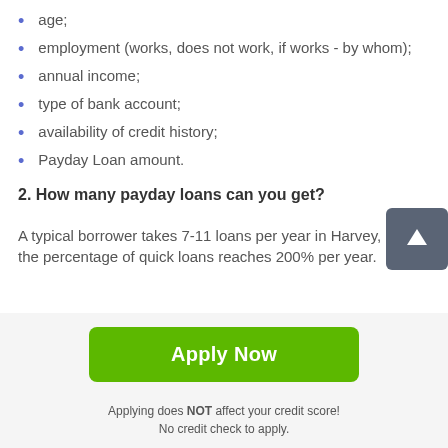age;
employment (works, does not work, if works - by whom);
annual income;
type of bank account;
availability of credit history;
Payday Loan amount.
2. How many payday loans can you get?
A typical borrower takes 7-11 loans per year in Harvey, the percentage of quick loans reaches 200% per year.
[Figure (other): Green 'Apply Now' button]
Applying does NOT affect your credit score!
No credit check to apply.